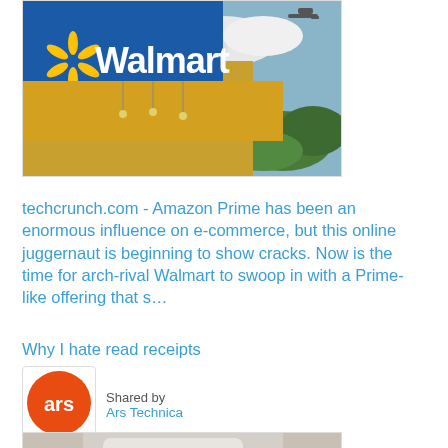[Figure (photo): Walmart store exterior with blue signage and yellow awning, sky with clouds visible]
techcrunch.com - Amazon Prime has been an enormous influence on e-commerce, but this online juggernaut is beginning to show cracks. Now is the time for arch-rival Walmart to swoop in with a Prime-like offering that s…
Why I hate read receipts
[Figure (logo): Ars Technica orange circle logo with 'ars' text in white]
Shared by
Ars Technica
[Figure (photo): Partial screenshot of a mobile device showing a messaging app with read receipts]